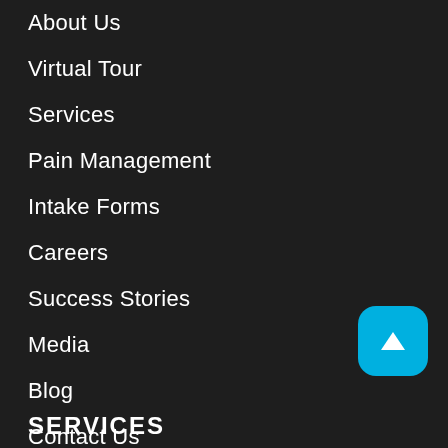About Us
Virtual Tour
Services
Pain Management
Intake Forms
Careers
Success Stories
Media
Blog
Contact Us
CALL: 732-894-9200
SERVICES